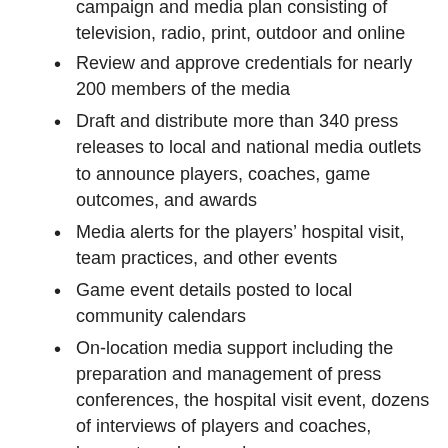Develop and execute a comprehensive advertising campaign and media plan consisting of television, radio, print, outdoor and online
Review and approve credentials for nearly 200 members of the media
Draft and distribute more than 340 press releases to local and national media outlets to announce players, coaches, game outcomes, and awards
Media alerts for the players' hospital visit, team practices, and other events
Game event details posted to local community calendars
On-location media support including the preparation and management of press conferences, the hospital visit event, dozens of interviews of players and coaches, banquet, and game day
Development of a comprehensive media kit
Social media strategy and management
Gameday schedule and on-field pre-game and halftime announcements